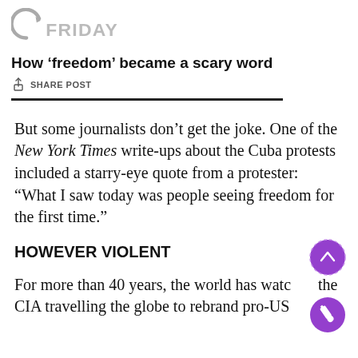FRIDAY
How ‘freedom’ became a scary word
SHARE POST
But some journalists don’t get the joke. One of the New York Times write-ups about the Cuba protests included a starry-eye quote from a protester: “What I saw today was people seeing freedom for the first time.”
HOWEVER VIOLENT
For more than 40 years, the world has watched the CIA travelling the globe to rebrand pro-US